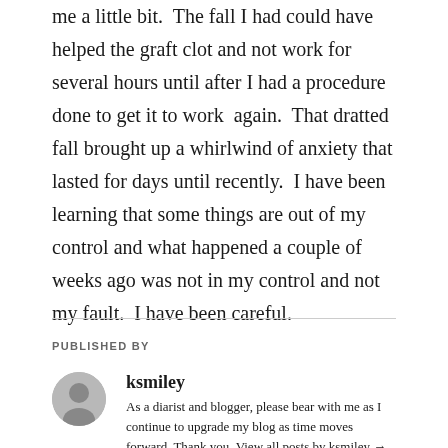me a little bit.  The fall I had could have helped the graft clot and not work for several hours until after I had a procedure done to get it to work  again.  That dratted fall brought up a whirlwind of anxiety that lasted for days until recently.  I have been learning that some things are out of my control and what happened a couple of weeks ago was not in my control and not my fault.  I have been careful.
PUBLISHED BY
ksmiley
As a diarist and blogger, please bear with me as I continue to upgrade my blog as time moves forward. Thank you. View all posts by ksmiley →